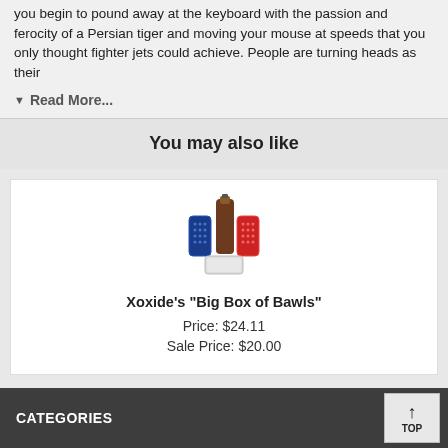you begin to pound away at the keyboard with the passion and ferocity of a Persian tiger and moving your mouse at speeds that you only thought fighter jets could achieve. People are turning heads as their
▼ Read More...
You may also like
[Figure (illustration): Product image showing a group of colorful bottles and cans: a blue can, a brown bottle, a red can, and a small white box at the bottom.]
Xoxide's "Big Box of Bawls"
Price: $24.11
Sale Price: $20.00
CATEGORIES